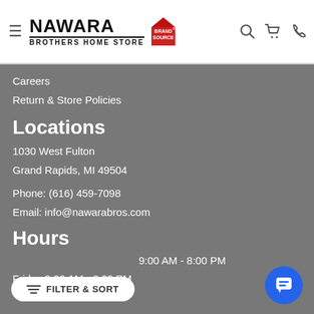Nawara Brothers Home Store — Brand Source | navigation header with hamburger menu, search, cart, and phone icons
Careers
Return & Store Policies
Locations
1030 West Fulton
Grand Rapids, MI 49504
Phone: (616) 459-7098
Email: info@nawarabros.com
Hours
9:00 AM - 8:00 PM
Friday 9:00 AM - 6:00 PM